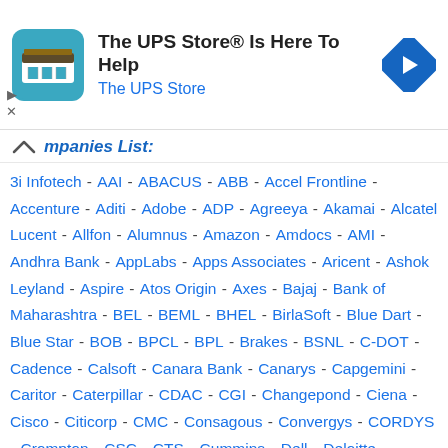[Figure (infographic): UPS Store advertisement banner with logo icon, headline 'The UPS Store® Is Here To Help', subtext 'The UPS Store', and a blue navigation arrow icon on the right.]
mpanies List:
3i Infotech - AAI - ABACUS - ABB - Accel Frontline - Accenture - Aditi - Adobe - ADP - Agreeya - Akamai - Alcatel Lucent - Allfon - Alumnus - Amazon - Amdocs - AMI - Andhra Bank - AppLabs - Apps Associates - Aricent - Ashok Leyland - Aspire - Atos Origin - Axes - Bajaj - Bank of Maharashtra - BEL - BEML - BHEL - BirlaSoft - Blue Dart - Blue Star - BOB - BPCL - BPL - Brakes - BSNL - C-DOT - Cadence - Calsoft - Canara Bank - Canarys - Capgemini - Caritor - Caterpillar - CDAC - CGI - Changepond - Ciena - Cisco - Citicorp - CMC - Consagous - Convergys - CORDYS - Crompton - CSC - CTS - Cummins - Dell - Deloitte - Delphi-TVS - DeShaw - Deutsche - Dotcom - DRDO - EDS - EIL - ELGI - ELICO - ERICSSON -